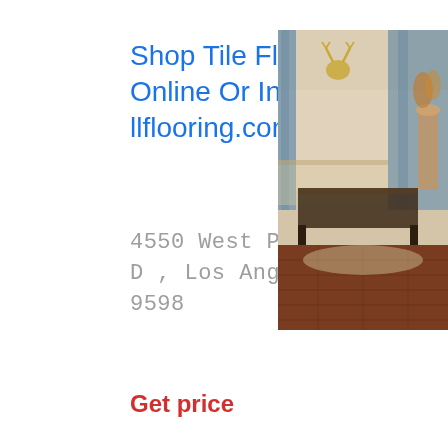Shop Tile Flooring | Shop Online Or In-Store | llflooring.com
4550 West Pico Boulevard Unit D , Los Angeles · 4.8 · (323) 9598
Get price
[Figure (photo): Interior room photo showing hardwood flooring with elegant furniture, drapes, and gold wall decor]